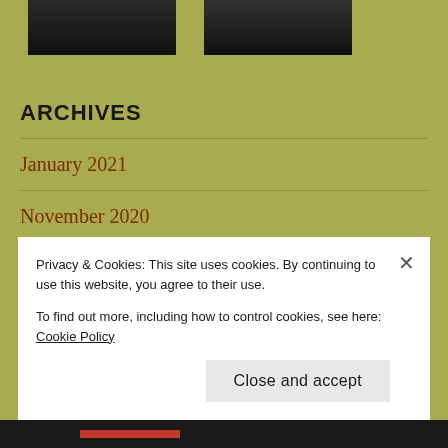[Figure (photo): Two dark photograph thumbnails side by side at the top of the page]
ARCHIVES
January 2021
November 2020
October 2020
Privacy & Cookies: This site uses cookies. By continuing to use this website, you agree to their use.
To find out more, including how to control cookies, see here: Cookie Policy
Close and accept